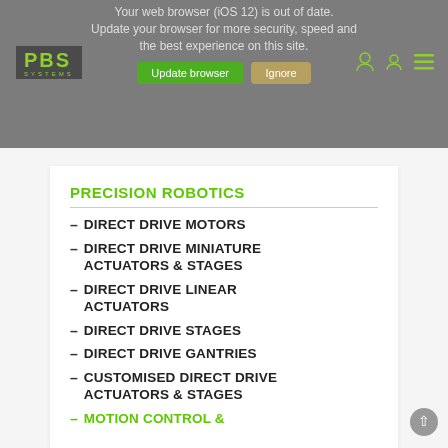[Figure (screenshot): Website header banner with browser update warning overlay, PBS Systems logo in green on dark background, user/menu icons, Update browser and Ignore buttons]
PRECISION ROBOTICS
DIRECT DRIVE MOTORS
DIRECT DRIVE MINIATURE ACTUATORS & STAGES
DIRECT DRIVE LINEAR ACTUATORS
DIRECT DRIVE STAGES
DIRECT DRIVE GANTRIES
CUSTOMISED DIRECT DRIVE ACTUATORS & STAGES
MOTION CONTROL &